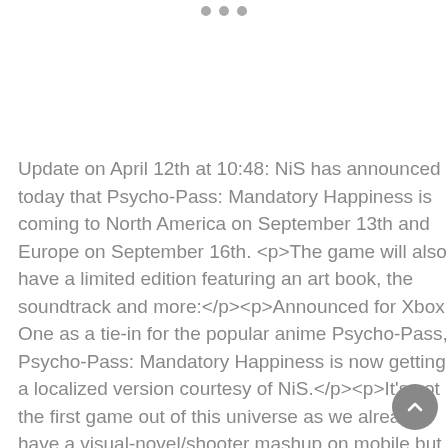• • •
Update on April 12th at 10:48: NiS has announced today that Psycho-Pass: Mandatory Happiness is coming to North America on September 13th and Europe on September 16th. <p>The game will also have a limited edition featuring an art book, the soundtrack and more:</p><p>Announced for Xbox One as a tie-in for the popular anime Psycho-Pass, Psycho-Pass: Mandatory Happiness is now getting a localized version courtesy of NiS.</p><p>It's not the first game out of this universe as we already have a visual-novel/shooter mashup on mobile but its release was limited to Japan.This time around, the game is a full visual novel complete with the freedom you'd expect from the genre.</p><p>Being a detective in a world where th